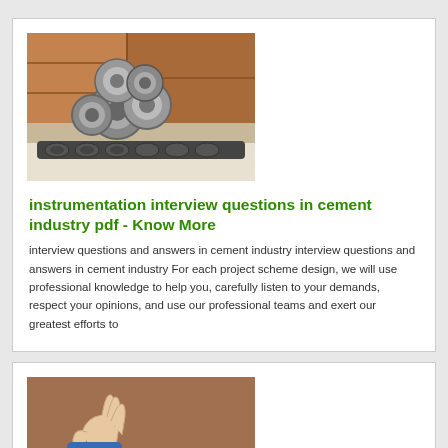[Figure (photo): Industrial machinery photo showing metal gears/bearings and chain links, with wooden crates in background]
instrumentation interview questions in cement industry pdf - Know More
interview questions and answers in cement industry interview questions and answers in cement industry For each project scheme design, we will use professional knowledge to help you, carefully listen to your demands, respect your opinions, and use our professional teams and exert our greatest efforts to
[Figure (photo): Person's hand handling metal bearings/gears on a chain, with industrial background]
instrumentation engineer in cement industry interview pdf - Know More